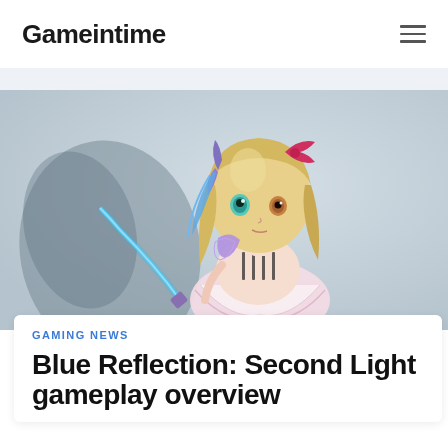Gameintime
[Figure (photo): Anime-style female character with blonde hair, blue and pink accessories, holding a glowing blue sword, against a light blue-grey textured background]
GAMING NEWS
Blue Reflection: Second Light gameplay overview